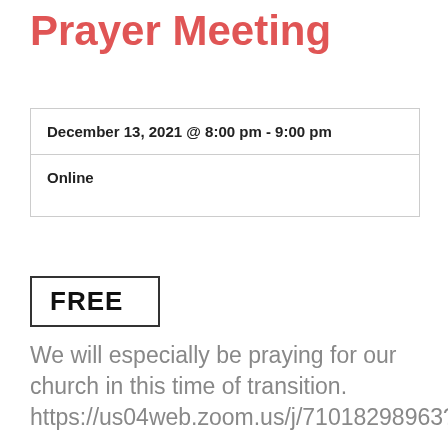Prayer Meeting
| December 13, 2021 @ 8:00 pm - 9:00 pm |
| Online |
FREE
We will especially be praying for our church in this time of transition. https://us04web.zoom.us/j/71018298963?